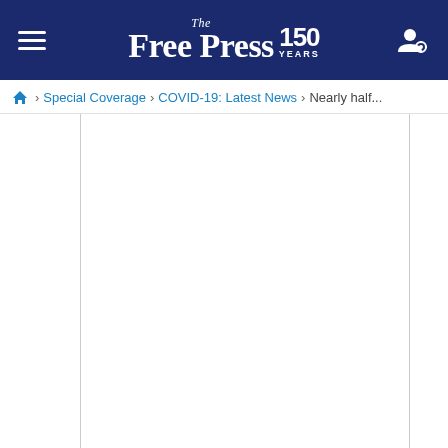The Free Press 150 YEARS
Home > Special Coverage > COVID-19: Latest News > Nearly half...